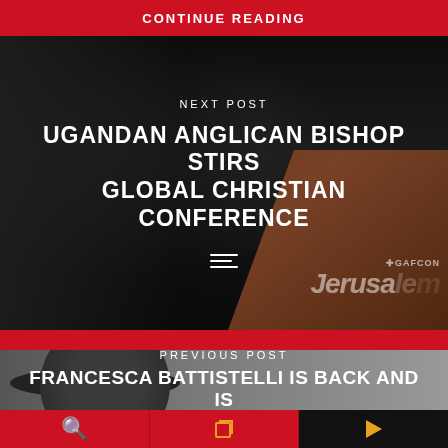CONTINUE READING
[Figure (photo): A Ugandan Anglican Bishop speaking at a podium at a GAFCON Jerusalem global Christian conference, dark background with conference signage visible]
NEXT POST
UGANDAN ANGLICAN BISHOP STIRS GLOBAL CHRISTIAN CONFERENCE
[Figure (photo): A woman wearing a black hat, appearing to be Francesca Battistelli, against a grey background]
PREVIOUS POST
FRANCESCA BATTISTELLI IS BACK AND IS